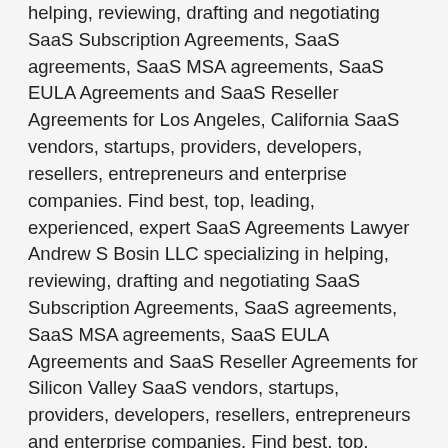helping, reviewing, drafting and negotiating SaaS Subscription Agreements, SaaS agreements, SaaS MSA agreements, SaaS EULA Agreements and SaaS Reseller Agreements for Los Angeles, California SaaS vendors, startups, providers, developers, resellers, entrepreneurs and enterprise companies. Find best, top, leading, experienced, expert SaaS Agreements Lawyer Andrew S Bosin LLC specializing in helping, reviewing, drafting and negotiating SaaS Subscription Agreements, SaaS agreements, SaaS MSA agreements, SaaS EULA Agreements and SaaS Reseller Agreements for Silicon Valley SaaS vendors, startups, providers, developers, resellers, entrepreneurs and enterprise companies. Find best, top, leading, experienced, expert SaaS Agreements Lawyer Andrew S Bosin LLC specializing in helping, reviewing, drafting and negotiating SaaS Subscription Agreements, SaaS agreements, SaaS MSA agreements, SaaS EULA Agreements and SaaS Reseller Agreements for Oklahoma City SaaS vendors, startups, providers, developers, resellers, entrepreneurs and enterprise